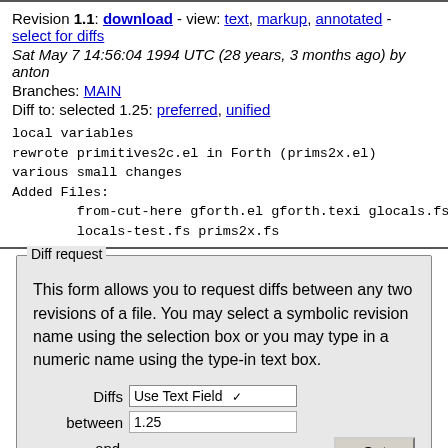Revision 1.1: download - view: text, markup, annotated - select for diffs
Sat May 7 14:56:04 1994 UTC (28 years, 3 months ago) by anton
Branches: MAIN
Diff to: selected 1.25: preferred, unified
local variables
rewrote primitives2c.el in Forth (prims2x.el)
various small changes
Added Files:
        from-cut-here gforth.el gforth.texi glocals.fs g
        locals-test.fs prims2x.fs
Diff request
This form allows you to request diffs between any two revisions of a file. You may select a symbolic revision name using the selection box or you may type in a numeric name using the type-in text box.
Diffs [Use Text Field ▾]  between [1.25]  and [Use Text Field ▾]  [Get Diffs]  [1.175]